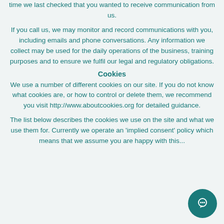time we last checked that you wanted to receive communication from us.
If you call us, we may monitor and record communications with you, including emails and phone conversations. Any information we collect may be used for the daily operations of the business, training purposes and to ensure we fulfil our legal and regulatory obligations.
Cookies
We use a number of different cookies on our site. If you do not know what cookies are, or how to control or delete them, we recommend you visit http://www.aboutcookies.org for detailed guidance.
The list below describes the cookies we use on the site and what we use them for. Currently we operate an 'implied consent' policy which means that we assume you are happy with this...